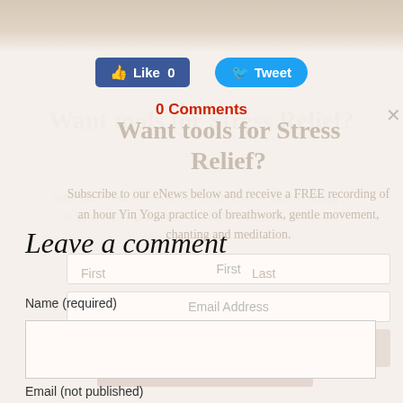[Figure (photo): Blurred top image strip, light beige/tan tones]
Like 0
Tweet
0 Comments
Want tools for Stress Relief?
Subscribe to our eNews below and receive a FREE recording of an hour Yin Yoga practice of breathwork, gentle movement, chanting and meditation.
Leave a comment
Name (required)
Email (not published)